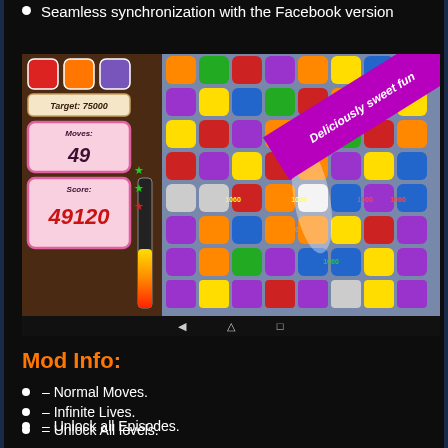Seamless synchronization with the Facebook version
[Figure (screenshot): Candy Crush Saga game screenshot showing colorful candy grid with score 49120, moves 49, target 75000, and 'Deliciously sweet fun' diagonal banner]
Mod Info:
– Normal Moves.
– Infinite Lives.
– Unlock All levels.
– Unlock all Episodes.
– Infinite Boosters.